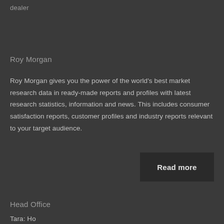dealer
Roy Morgan
Roy Morgan gives you the power of the world’s best market research data in ready-made reports and profiles with latest research statistics, information and news. This includes consumer satisfaction reports, customer profiles and industry reports relevant to your target audience.
Read more
Head Office
Tara: Ho...